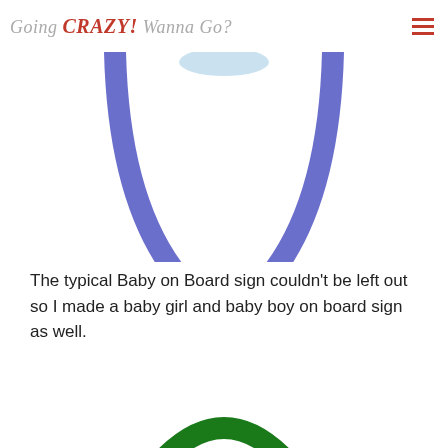Going CRAZY! Wanna Go?
[Figure (illustration): Bottom portion of a blue U-shaped curved arc (Baby on Board sign shape) with a small light blue oval at the top center, on white background.]
The typical Baby on Board sign couldn't be left out so I made a baby girl and baby boy on board sign as well.
[Figure (illustration): Top portion of a dark green arch/dome-shaped curved arc (Baby on Board sign shape) on white background, partially cropped at bottom.]